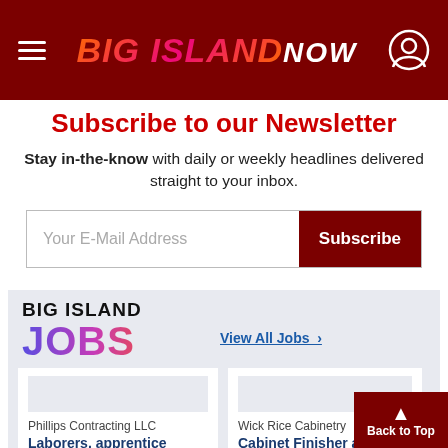Big Island Now
Subscribe to our Newsletter
Stay in-the-know with daily or weekly headlines delivered straight to your inbox.
[Figure (screenshot): Email subscription form with 'Your E-Mail Address' placeholder input and dark red 'Subscribe' button]
[Figure (logo): Big Island Jobs logo — BIG ISLAND in black, JOBS in multicolor gradient (purple to pink to red to orange)]
View All Jobs >
Phillips Contracting LLC
Laborers, apprentice carpenters,
Wick Rice Cabinetry
Cabinet Finisher a